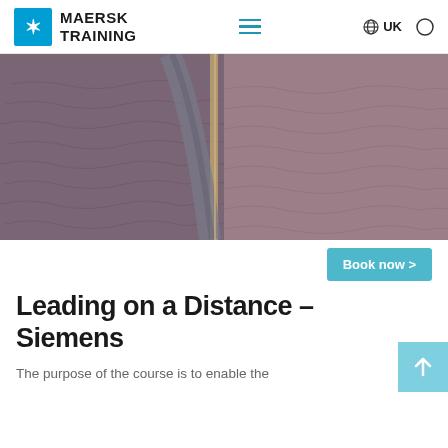MAERSK TRAINING
[Figure (photo): Close-up of a ship railing or mast against a purple-toned ocean surface with sunlight reflections, split into two panels]
Book now >
Leading on a Distance – Siemens
The purpose of the course is to enable the